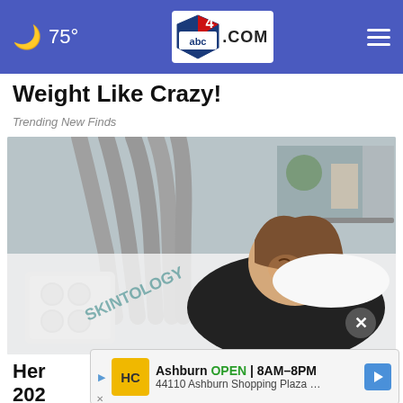🌙 75°  abc4.com  ☰
Weight Like Crazy!
Trending New Finds
[Figure (photo): Woman smiling and lying on a medical/beauty treatment bed with multiple gray hose attachments from a body contouring machine applied to her torso. The word SKINTOLOGY is visible on a white sheet/covering. The setting appears to be a spa or medical aesthetics clinic.]
Her … in 202… (…) …